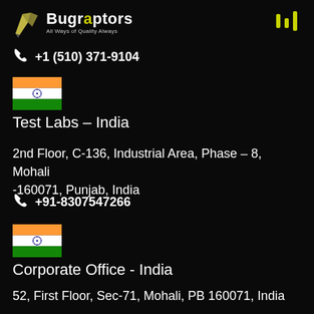[Figure (logo): Bugraptors logo with wing icon and tagline 'All Ways of Quality Always']
+1 (510) 371-9104
[Figure (illustration): Indian flag emoji]
Test Labs – India
2nd Floor, C-136, Industrial Area, Phase – 8, Mohali -160071, Punjab, India
+91-8307547266
[Figure (illustration): Indian flag emoji]
Corporate Office - India
52, First Floor, Sec-71, Mohali, PB 160071, India